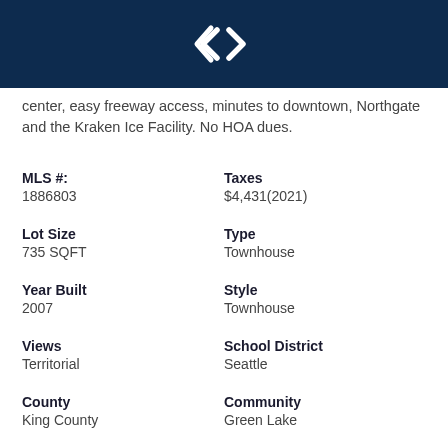[Figure (logo): Coldwell Banker or similar real estate agency logo — white diamond/arrow icon on dark navy background]
center, easy freeway access, minutes to downtown, Northgate and the Kraken Ice Facility. No HOA dues.
MLS #:
1886803
Taxes
$4,431(2021)
Lot Size
735 SQFT
Type
Townhouse
Year Built
2007
Style
Townhouse
Views
Territorial
School District
Seattle
County
King County
Community
Green Lake